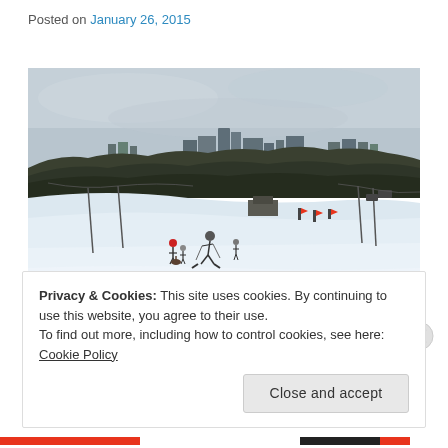Posted on January 26, 2015
[Figure (photo): Winter ski slope with skiers on a snowy hill, chairlifts visible, trees in background, city skyline visible in the far distance under a grey overcast sky.]
Privacy & Cookies: This site uses cookies. By continuing to use this website, you agree to their use.
To find out more, including how to control cookies, see here: Cookie Policy
Close and accept